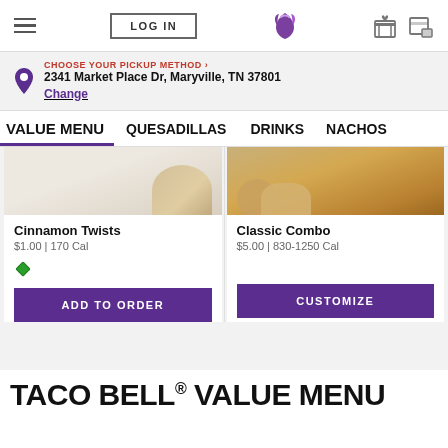LOG IN | Taco Bell
CHOOSE YOUR PICKUP METHOD ›
2341 Market Place Dr, Maryville, TN 37801
Change
VALUE MENU   QUESADILLAS   DRINKS   NACHOS
[Figure (photo): Cinnamon Twists food photo (partially shown from top)]
Cinnamon Twists
$1.00 | 170 Cal
ADD TO ORDER
[Figure (photo): Classic Combo food photo (partially shown from top, shows tacos/wraps)]
Classic Combo
$5.00 | 830-1250 Cal
CUSTOMIZE
TACO BELL® VALUE MENU